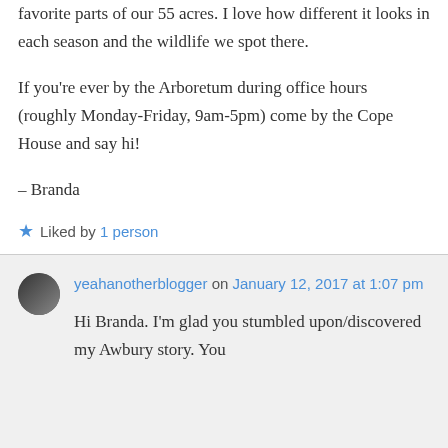favorite parts of our 55 acres. I love how different it looks in each season and the wildlife we spot there.
If you're ever by the Arboretum during office hours (roughly Monday-Friday, 9am-5pm) come by the Cope House and say hi!
– Branda
★ Liked by 1 person
yeahanotherblogger on January 12, 2017 at 1:07 pm
Hi Branda. I'm glad you stumbled upon/discovered my Awbury story. You